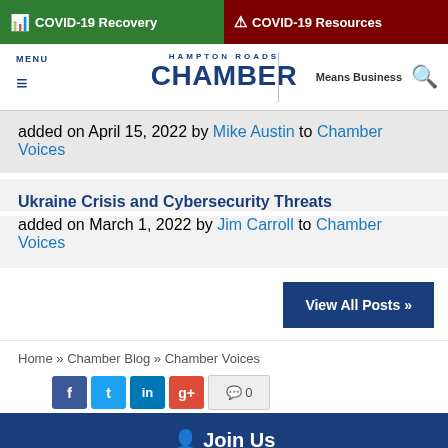COVID-19 Recovery | COVID-19 Resources
[Figure (screenshot): Hampton Roads Chamber navigation bar with logo, menu, Means Business tagline, and search icon]
added on April 15, 2022 by Mike Austin to Chamber Voices
Ukraine Crisis and Cybersecurity Threats
added on March 1, 2022 by Jim Carroll to Chamber Voices
View All Posts »
Home » Chamber Blog » Chamber Voices
Join Us